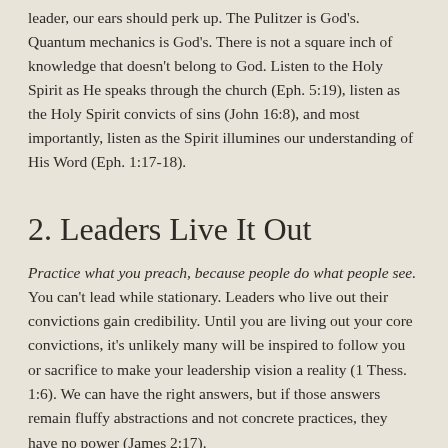leader, our ears should perk up. The Pulitzer is God's. Quantum mechanics is God's. There is not a square inch of knowledge that doesn't belong to God. Listen to the Holy Spirit as He speaks through the church (Eph. 5:19), listen as the Holy Spirit convicts of sins (John 16:8), and most importantly, listen as the Spirit illumines our understanding of His Word (Eph. 1:17-18).
2. Leaders Live It Out
Practice what you preach, because people do what people see. You can't lead while stationary. Leaders who live out their convictions gain credibility. Until you are living out your core convictions, it's unlikely many will be inspired to follow you or sacrifice to make your leadership vision a reality (1 Thess. 1:6). We can have the right answers, but if those answers remain fluffy abstractions and not concrete practices, they have no power (James 2:17).